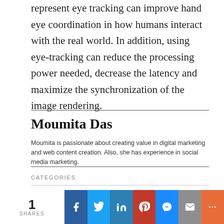represent eye tracking can improve hand eye coordination in how humans interact with the real world. In addition, using eye-tracking can reduce the processing power needed, decrease the latency and maximize the synchronization of the image rendering.
Moumita Das
Moumita is passionate about creating value in digital marketing and web content creation. Also, she has experience in social media marketing.
CATEGORIES
[Figure (infographic): Social share bar with count of 1 SHARES and buttons for Facebook, Twitter, LinkedIn, Pinterest, Messenger, Email, and More]